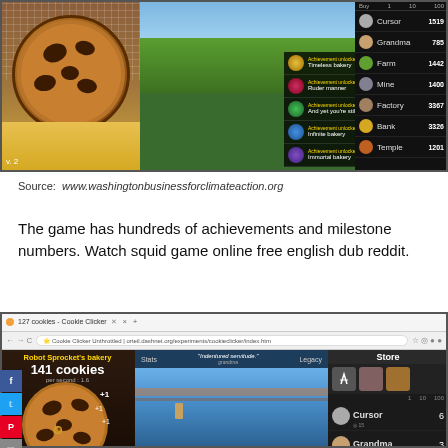[Figure (screenshot): Screenshot of Cookie Clicker game showing a large cookie on the left, a game field with achievement unlocked notifications in the middle (Timeless bakery, Ruder manner, And yet you're still hungry, Infinite bakery, Immortal bakery), and a store panel on the right showing Cursor 1519, Grandma 785, Farm 1442, Mine 1400, Factory 3367, Bank 3326, Temple 1201]
Source: www.washingtonbusinessforclimateaction.org
The game has hundreds of achievements and milestone numbers. Watch squid game online free english dub reddit.
[Figure (screenshot): Browser screenshot of Cookie Clicker game showing Robot Sprocket's bakery with 141 cookies, a store panel with Cursor, Grandma, ???, ??? items, and a game field area with 'Indentured servitude.' quote. Social sharing buttons on the left side.]